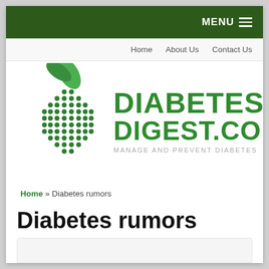MENU
Home  About Us  Contact Us
[Figure (logo): DiabetesDigest.com logo with green dotted apple/globe icon and green text reading DIABETES DIGEST.COM with tagline MANAGE AND PREVENT DIABETES]
Home » Diabetes rumors
Diabetes rumors